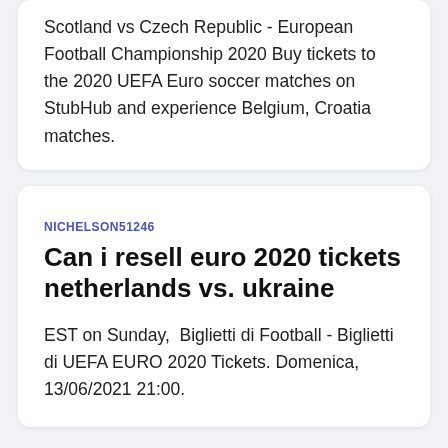Scotland vs Czech Republic - European Football Championship 2020 Buy tickets to the 2020 UEFA Euro soccer matches on StubHub and experience Belgium, Croatia matches.
NICHELSON51246
Can i resell euro 2020 tickets netherlands vs. ukraine
EST on Sunday,  Biglietti di Football - Biglietti di UEFA EURO 2020 Tickets. Domenica, 13/06/2021 21:00.